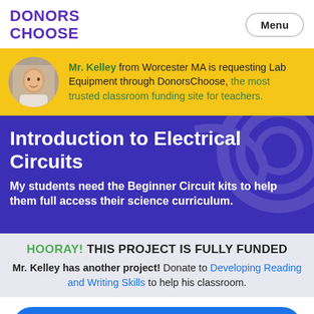DONORS CHOOSE | Menu
Mr. Kelley from Worcester MA is requesting Lab Equipment through DonorsChoose, the most trusted classroom funding site for teachers.
Introduction to Electrical Circuits
My students need the Beginner Circuit kits to help them full access their science curriculum.
HOORAY! THIS PROJECT IS FULLY FUNDED
Mr. Kelley has another project! Donate to Developing Reading and Writing Skills to help his classroom.
Help Mr. Kelley